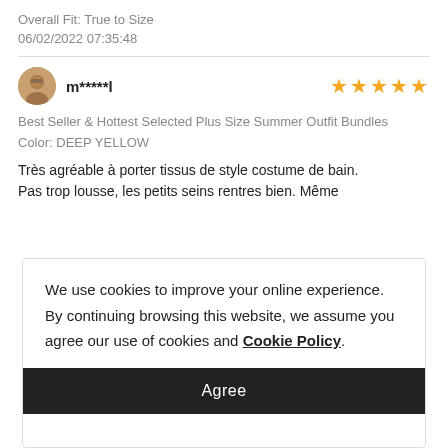Overall Fit: True to Size
06/02/2022 07:35:48
m*****l
★★★★★
Best Seller & Hottest Selected Plus Size Summer Outfit Bundles
Color: DEEP YELLOW
Très agréable à porter tissus de style costume de bain. Pas trop lousse, les petits seins rentres bien. Même
We use cookies to improve your online experience. By continuing browsing this website, we assume you agree our use of cookies and Cookie Policy.
Agree